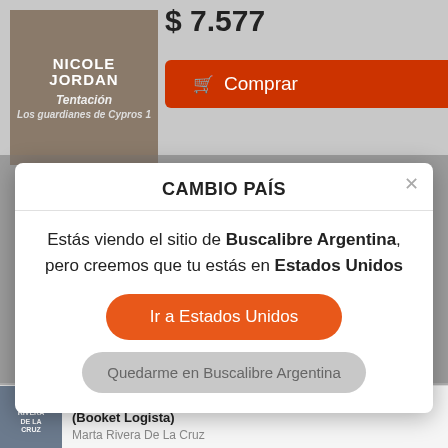[Figure (screenshot): Book cover for Tentación by Nicole Jordan]
$ 7.577
Comprar
CAMBIO PAÍS
Estás viendo el sitio de Buscalibre Argentina, pero creemos que tu estás en Estados Unidos
Ir a Estados Unidos
Quedarme en Buscalibre Argentina
[Figure (screenshot): Book cover for En Tiempo de Prodigios by Marta Rivera De La Cruz]
En Tiempo de Prodigios: Finalista Premio Planeta 2006 (Booket Logista)
Marta Rivera De La Cruz